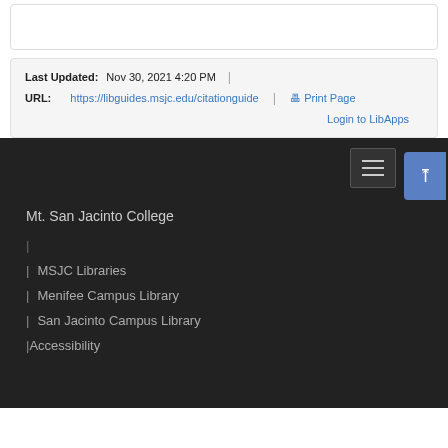Last Updated: Nov 30, 2021 4:20 PM | URL: https://libguides.msjc.edu/citationguide | Print Page
Login to LibApps
Mt. San Jacinto College
| MSJC Libraries
| Menifee Campus Library
| San Jacinto Campus Library
| Accessibility